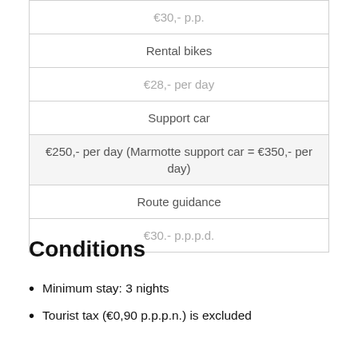| €30,- p.p. |
| Rental bikes |
| €28,- per day |
| Support car |
| €250,- per day (Marmotte support car = €350,- per day) |
| Route guidance |
| €30.- p.p.p.d. |
Conditions
Minimum stay: 3 nights
Tourist tax (€0,90 p.p.p.n.) is excluded